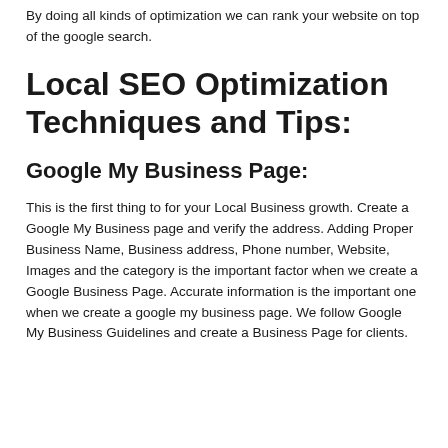By doing all kinds of optimization we can rank your website on top of the google search.
Local SEO Optimization Techniques and Tips:
Google My Business Page:
This is the first thing to for your Local Business growth. Create a Google My Business page and verify the address. Adding Proper Business Name, Business address, Phone number, Website, Images and the category is the important factor when we create a Google Business Page. Accurate information is the important one when we create a google my business page. We follow Google My Business Guidelines and create a Business Page for clients.